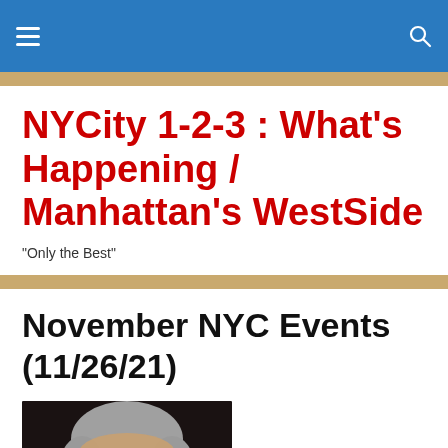NYCity 1-2-3 : What's Happening / Manhattan's WestSide
NYCity 1-2-3 : What's Happening / Manhattan's WestSide
"Only the Best"
November NYC Events (11/26/21)
[Figure (photo): Close-up portrait photo of a middle-aged man with gray hair against a dark background.]